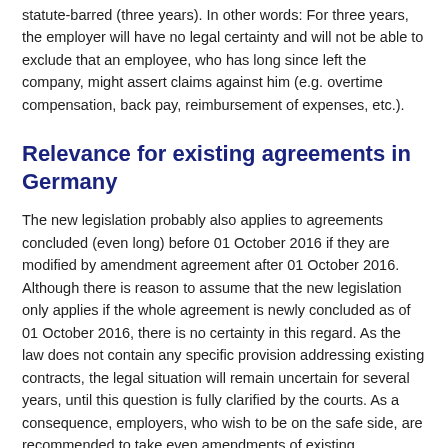statute-barred (three years). In other words: For three years, the employer will have no legal certainty and will not be able to exclude that an employee, who has long since left the company, might assert claims against him (e.g. overtime compensation, back pay, reimbursement of expenses, etc.).
Relevance for existing agreements in Germany
The new legislation probably also applies to agreements concluded (even long) before 01 October 2016 if they are modified by amendment agreement after 01 October 2016. Although there is reason to assume that the new legislation only applies if the whole agreement is newly concluded as of 01 October 2016, there is no certainty in this regard. As the law does not contain any specific provision addressing existing contracts, the legal situation will remain uncertain for several years, until this question is fully clarified by the courts. As a consequence, employers, who wish to be on the safe side, are recommended to take even amendments of existing agreements as an occasion for updating these agreements as a whole before signing them.